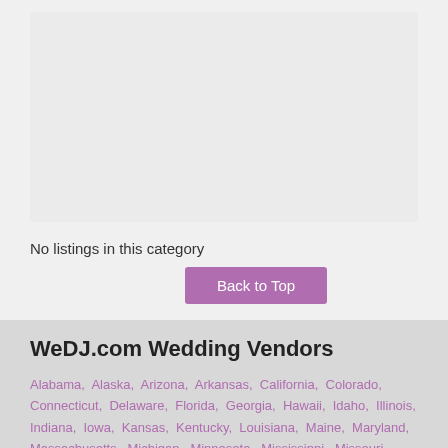[Figure (other): Empty gray placeholder box at top of page]
No listings in this category
Back to Top
WeDJ.com Wedding Vendors
Alabama, Alaska, Arizona, Arkansas, California, Colorado, Connecticut, Delaware, Florida, Georgia, Hawaii, Idaho, Illinois, Indiana, Iowa, Kansas, Kentucky, Louisiana, Maine, Maryland, Massachusetts, Michigan, Minnesota, Mississippi, Missouri, Montana, Nebraska, Nevada, New Hampshire, New Jersey, New Mexico, New York, North Carolina, North Dakota, Ohio, Oklahoma, Oregon, Pennsylvania, Rhode Island, South Carolina, South Dakota, Tennessee, Texas, Utah, Vermont, Virginia, Washington, West Virginia, Wisconsin, Wyoming - Canada, Alberta, British Columbia,